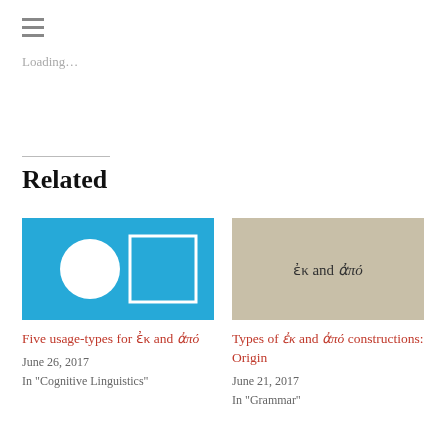[Figure (other): Hamburger menu icon (three horizontal lines)]
Loading...
[Figure (other): Horizontal divider line]
Related
[Figure (illustration): Blue background with white circle on left and white-outlined square on right]
Five usage-types for ἐκ and ἀπό
June 26, 2017
In "Cognitive Linguistics"
[Figure (illustration): Tan/beige background with text 'ἐκ and ἀπό' in center]
Types of ἐκ and ἀπό constructions: Origin
June 21, 2017
In "Grammar"